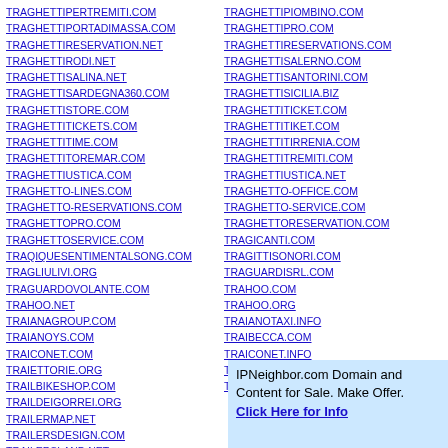Left column domain list: TRAGHETTIPERTREMITI.COM, TRAGHETTIPORTADIMASSA.COM, TRAGHETTIRESERVATION.NET, TRAGHETTIRODI.NET, TRAGHETTISALINA.NET, TRAGHETTISARDEGNA360.COM, TRAGHETTISTORE.COM, TRAGHETTITICKETS.COM, TRAGHETTITIME.COM, TRAGHETTITOREMAR.COM, TRAGHETTIUSTICA.COM, TRAGHETTO-LINES.COM, TRAGHETTO-RESERVATIONS.COM, TRAGHETTOPRO.COM, TRAGHETTOSERVICE.COM, TRAQIQUESENTIMENTALSONG.COM, TRAGLIULIVI.ORG, TRAGUARDOVOLANTE.COM, TRAHOO.NET, TRAIANAGROUP.COM, TRAIANOYS.COM, TRAICONET.COM, TRAIETTORIE.ORG, TRAILBIKESHOP.COM, TRAILDEIGORREI.ORG, TRAILERMAP.NET, TRAILERSDESIGN.COM, TRAILERSLAND.NET
Right column domain list: TRAGHETTIPIOMBINO.COM, TRAGHETTIPRO.COM, TRAGHETTIRESERVATIONS.COM, TRAGHETTISALERNO.COM, TRAGHETTISANTORINI.COM, TRAGHETTISICILIA.BIZ, TRAGHETTITICKET.COM, TRAGHETTITIKET.COM, TRAGHETTITIRRENIA.COM, TRAGHETTITREMITI.COM, TRAGHETTIUSTICA.NET, TRAGHETTO-OFFICE.COM, TRAGHETTO-SERVICE.COM, TRAGHETTORESERVATION.COM, TRAGICANTI.COM, TRAGITTISONORI.COM, TRAGUARDISRL.COM, TRAHOO.COM, TRAHOO.ORG, TRAIANOTAXI.INFO, TRAIBECCA.COM, TRAICONET.INFO, TRAIETTORIENONLINEARI.COM, TRAILDEGLIEROI.COM
IPNeighbor.com Domain and Content for Sale. Make Offer. Click Here for Info